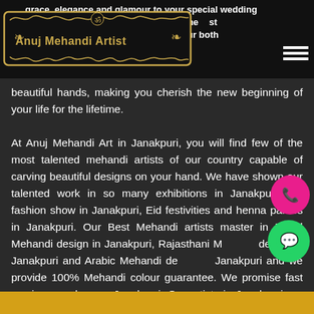Anuj Mehandi Artist
grace, elegance and glamour to your special wedding occasion. For weddings, we bring in the best specially intricate pattern to adorn your both beautiful hands, making you cherish the new beginning of your life for the lifetime.
At Anuj Mehandi Art in Janakpuri, you will find few of the most talented mehandi artists of our country capable of carving beautiful designs on your hand. We have shown our talented work in so many exhibitions in Janakpuri, the fashion show in Janakpuri, Eid festivities and henna parties in Janakpuri. Our Best Mehandi artists master in Bridal Mehandi design in Janakpuri, Rajasthani Mehandi design in Janakpuri and Arabic Mehandi design in Janakpuri and we provide 100% Mehandi colour guarantee. We promise fast service anywhere in Janakpuri. Our artists in Janakpuri are available 24/7 to deliver exceptional service to our clients in Janakpuri.